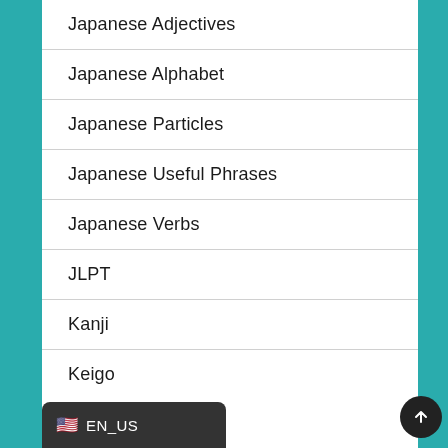Japanese Adjectives
Japanese Alphabet
Japanese Particles
Japanese Useful Phrases
Japanese Verbs
JLPT
Kanji
Keigo